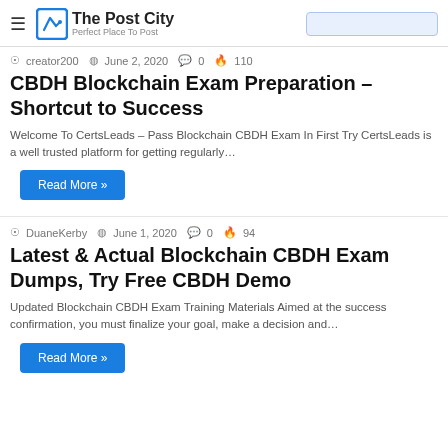The Post City — Perfect Place To Post
creator200  June 2, 2020  0  110
CBDH Blockchain Exam Preparation – Shortcut to Success
Welcome To CertsLeads – Pass Blockchain CBDH Exam In First Try CertsLeads is a well trusted platform for getting regularly…
Read More »
DuaneKerby  June 1, 2020  0  94
Latest & Actual Blockchain CBDH Exam Dumps, Try Free CBDH Demo
Updated Blockchain CBDH Exam Training Materials Aimed at the success confirmation, you must finalize your goal, make a decision and…
Read More »